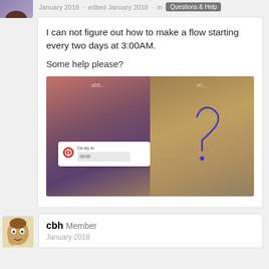January 2018 · edited January 2018 · in Questions & Help
I can not figure out how to make a flow starting every two days at 3:00AM.
Some help please?
[Figure (screenshot): Screenshot of a flow editor interface split into two panels with a gradient background. Left panel shows a clock/schedule trigger dialog with time input showing 00:00. Right panel shows a hand-drawn question mark symbol.]
cbh Member
January 2018